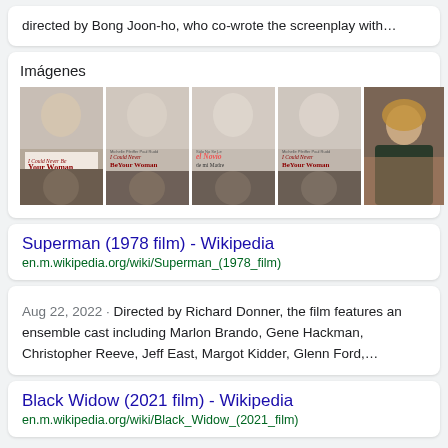directed by Bong Joon-ho, who co-wrote the screenplay with…
Imágenes
[Figure (photo): Grid of movie poster images for 'I Could Never Be Your Woman' and related film stills, plus a photo of a woman on a couch]
Superman (1978 film) - Wikipedia
en.m.wikipedia.org/wiki/Superman_(1978_film)
Aug 22, 2022 · Directed by Richard Donner, the film features an ensemble cast including Marlon Brando, Gene Hackman, Christopher Reeve, Jeff East, Margot Kidder, Glenn Ford,…
Black Widow (2021 film) - Wikipedia
en.m.wikipedia.org/wiki/Black_Widow_(2021_film)